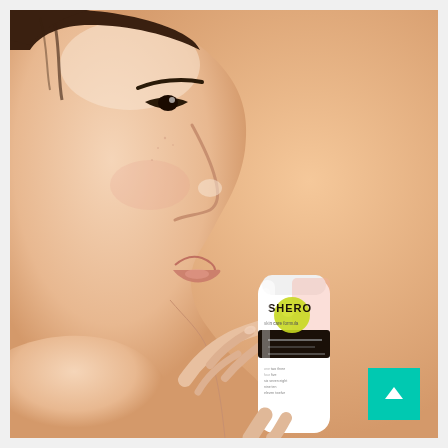[Figure (photo): A woman in profile view holding a white SHERO skincare product bottle with a yellow circle logo and black label band. The background is a warm peach/salmon color. The woman's face is in close-up profile showing her nose, lips, and chin area. She holds the bottle up near her face.]